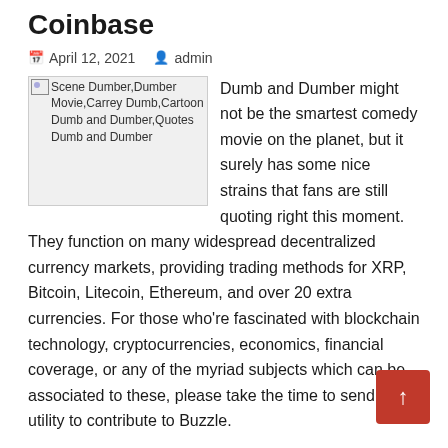Coinbase
April 12, 2021   admin
[Figure (photo): Scene Dumber,Dumber Movie,Carrey Dumb,Cartoon Dumb and Dumber,Quotes Dumb and Dumber — broken image placeholder]
Dumb and Dumber might not be the smartest comedy movie on the planet, but it surely has some nice strains that fans are still quoting right this moment. They function on many widespread decentralized currency markets, providing trading methods for XRP, Bitcoin, Litecoin, Ethereum, and over 20 extra currencies. For those who're fascinated with blockchain technology, cryptocurrencies, economics, financial coverage, or any of the myriad subjects which can be associated to these, please take the time to send us an utility to contribute to Buzzle.
What cont...